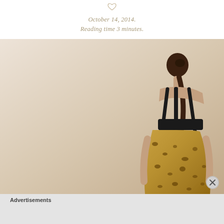October 14, 2014.
Reading time 3 minutes.
[Figure (photo): Fashion model seen from behind wearing a backless gold leopard-print dress with black straps against a warm beige background]
Advertisements
REPORT THIS AD